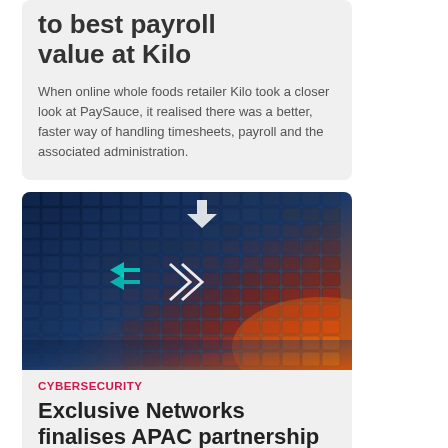to best payroll value at Kilo
When online whole foods retailer Kilo took a closer look at PaySauce, it realised there was a better, faster way of handling timesheets, payroll and the associated administration.
[Figure (photo): Technology background with glowing blue and orange arrows on a dark surface, representing cybersecurity or data flow]
CYBERSECURITY
Exclusive Networks finalises APAC partnership with